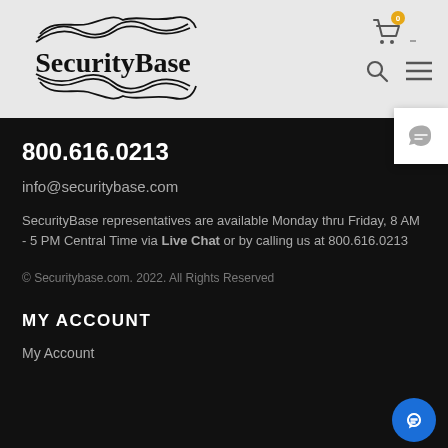[Figure (logo): SecurityBase logo with decorative swirl ornaments above and below the brand name in serif font]
800.616.0213
info@securitybase.com
SecurityBase representatives are available Monday thru Friday, 8 AM - 5 PM Central Time via Live Chat or by calling us at 800.616.0213
© Securitybase.com. 2022. All Rights Reserved
MY ACCOUNT
My Account